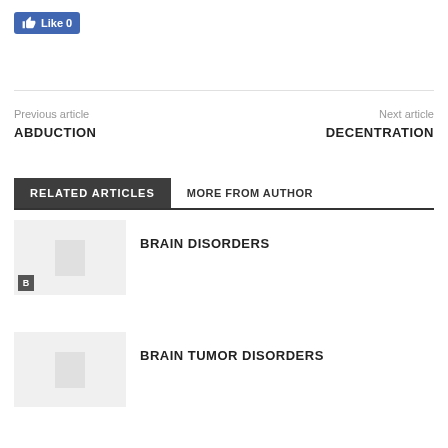[Figure (screenshot): Facebook Like button showing 'Like 0']
Previous article
ABDUCTION
Next article
DECENTRATION
RELATED ARTICLES
MORE FROM AUTHOR
[Figure (screenshot): Thumbnail placeholder for Brain Disorders article with B badge]
BRAIN DISORDERS
[Figure (screenshot): Thumbnail placeholder for Brain Tumor Disorders article]
BRAIN TUMOR DISORDERS